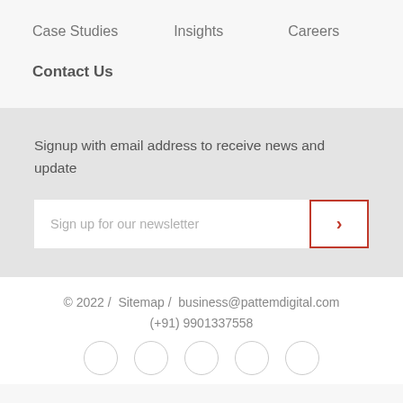Case Studies    Insights    Careers
Contact Us
Signup with email address to receive news and update
Sign up for our newsletter
© 2022 /  Sitemap /  business@pattemdigital.com
(+91) 9901337558